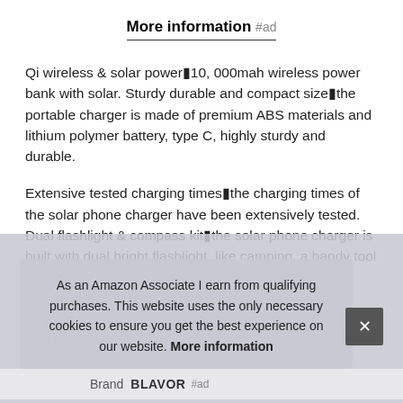More information #ad
Qi wireless & solar power■10, 000mah wireless power bank with solar. Sturdy durable and compact size■the portable charger is made of premium ABS materials and lithium polymer battery, type C, highly sturdy and durable.
Extensive tested charging times■the charging times of the solar phone charger have been extensively tested. Dual flashlight & compass kit■the solar phone charger is built with dual bright flashlight, like camping, a handy tool for outdoor activities, and comes with a portable compass kit, cycling, fishing, traveling, hiking and beaches. Itself can be fully recharged around 6hours with 5V/2A adapter. It can charge iphone... up t...
As an Amazon Associate I earn from qualifying purchases. This website uses the only necessary cookies to ensure you get the best experience on our website. More information
| Brand | Value |
| --- | --- |
| Brand | BLAVOR #ad |